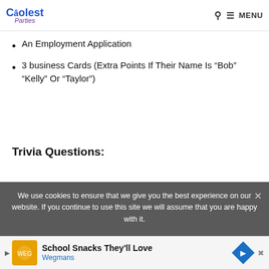Coolest Parties — MENU
An Employment Application
3 business Cards (Extra Points If Their Name Is “Bob” “Kelly” Or “Taylor”)
Trivia Questions:
We use cookies to ensure that we give you the best experience on our website. If you continue to use this site we will assume that you are happy with it.
School Snacks They’ll Love — Wegmans